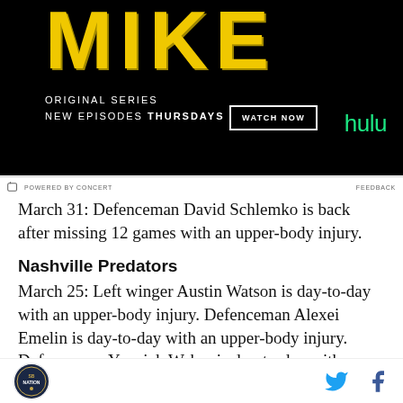[Figure (advertisement): Hulu advertisement for 'MIKE' original series. Black background with large yellow distressed text 'MIKE'. Text reads 'ORIGINAL SERIES / NEW EPISODES THURSDAYS' with a 'WATCH NOW' button and Hulu logo in green.]
POWERED BY CONCERT    FEEDBACK
March 31: Defenceman David Schlemko is back after missing 12 games with an upper-body injury.
Nashville Predators
March 25: Left winger Austin Watson is day-to-day with an upper-body injury. Defenceman Alexei Emelin is day-to-day with an upper-body injury. Defenceman Yannick Weber is day-to-day with an undisclosed
SB Nation logo | Twitter icon | Facebook icon